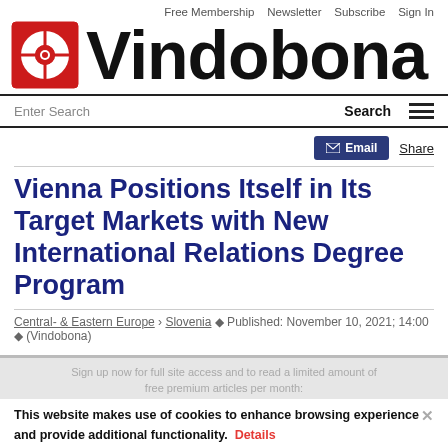Free Membership   Newsletter   Subscribe   Sign In
[Figure (logo): Vindobona logo: red square with white circle and red bullseye dot, next to bold text 'Vindobona']
Enter Search   Search   ☰
✉ Email   Share
Vienna Positions Itself in Its Target Markets with New International Relations Degree Program
Central- & Eastern Europe › Slovenia ♦ Published: November 10, 2021; 14:00 ♦ (Vindobona)
Sign up now for full site access and to read a limited amount of free premium articles per month:
This website makes use of cookies to enhance browsing experience and provide additional functionality.   Details   ✕
your email address   Sign   Allow cookies